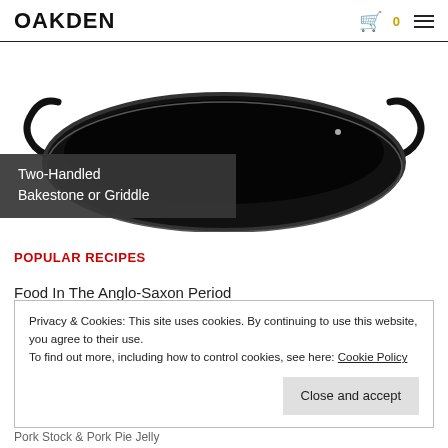OAKDEN
[Figure (photo): A two-handled cast iron bakestone or griddle pan photographed from above against a white background, showing black handles on both sides and a dark cooking surface.]
Two-Handled Bakestone or Griddle
POPULAR RECIPES
Food In The Anglo-Saxon Period
Privacy & Cookies: This site uses cookies. By continuing to use this website, you agree to their use.
To find out more, including how to control cookies, see here: Cookie Policy
Pork Stock & Pork Pie Jelly